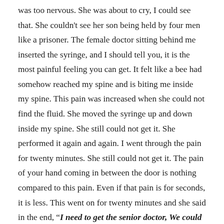was too nervous. She was about to cry, I could see that. She couldn't see her son being held by four men like a prisoner. The female doctor sitting behind me inserted the syringe, and I should tell you, it is the most painful feeling you can get. It felt like a bee had somehow reached my spine and is biting me inside my spine. This pain was increased when she could not find the fluid. She moved the syringe up and down inside my spine. She still could not get it. She performed it again and again. I went through the pain for twenty minutes. She still could not get it. The pain of your hand coming in between the door is nothing compared to this pain. Even if that pain is for seconds, it is less. This went on for twenty minutes and she said in the end, "I need to get the senior doctor, We could not get it" I saw the face of my sister when she said it. My family was waiting outside the ward just to hear that the most painful test is over. They were nervous and restless to hear the news like a